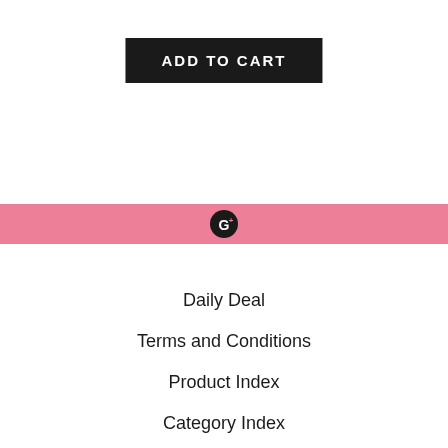[Figure (other): Black button with white uppercase text 'ADD TO CART']
[Figure (other): Pink horizontal bar with Google Plus icon (dark circle with G+ symbol) centered on it]
Daily Deal
Terms and Conditions
Product Index
Category Index
Thank You!